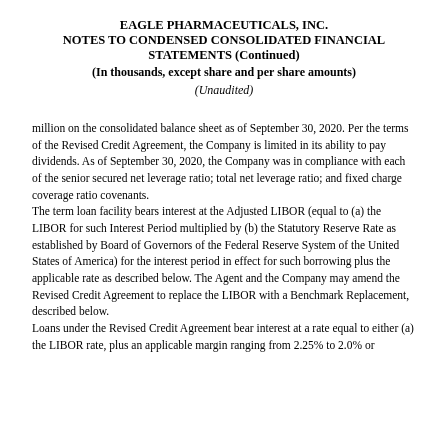EAGLE PHARMACEUTICALS, INC.
NOTES TO CONDENSED CONSOLIDATED FINANCIAL STATEMENTS (Continued)
(In thousands, except share and per share amounts)
(Unaudited)
million on the consolidated balance sheet as of September 30, 2020. Per the terms of the Revised Credit Agreement, the Company is limited in its ability to pay dividends. As of September 30, 2020, the Company was in compliance with each of the senior secured net leverage ratio; total net leverage ratio; and fixed charge coverage ratio covenants.
The term loan facility bears interest at the Adjusted LIBOR (equal to (a) the LIBOR for such Interest Period multiplied by (b) the Statutory Reserve Rate as established by Board of Governors of the Federal Reserve System of the United States of America) for the interest period in effect for such borrowing plus the applicable rate as described below. The Agent and the Company may amend the Revised Credit Agreement to replace the LIBOR with a Benchmark Replacement, described below.
Loans under the Revised Credit Agreement bear interest at a rate equal to either (a) the LIBOR rate, plus an applicable margin ranging from 2.25% to 2.0% or...